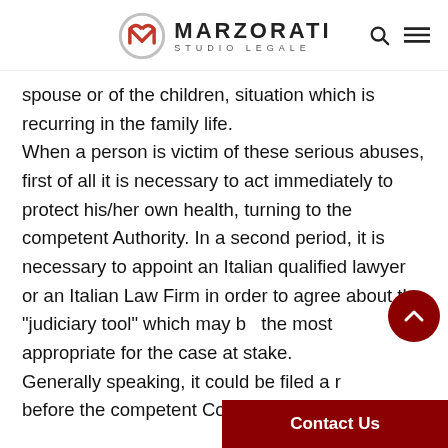Marzorati Studio Legale
spouse or of the children, situation which is recurring in the family life. When a person is victim of these serious abuses, first of all it is necessary to act immediately to protect his/her own health, turning to the competent Authority. In a second period, it is necessary to appoint an Italian qualified lawyer or an Italian Law Firm in order to agree about the "judiciary tool" which may be the most appropriate for the case at stake. Generally speaking, it could be filed a request before the competent Court in order to...